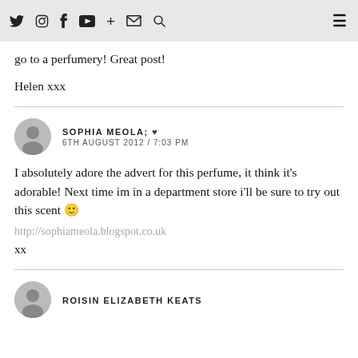Social media navigation icons and hamburger menu
I've always associated Estrada with teenage sweetness but this sounds gorgeous! I will definitely be trying a spritz when I next go to a perfumery! Great post!
Helen xxx
SOPHIA MEOLA; ♥
6TH AUGUST 2012 / 7:03 PM
I absolutely adore the advert for this perfume, it think it's adorable! Next time im in a department store i'll be sure to try out this scent 🙂
http://sophiameola.blogspot.co.uk
xx
ROISIN ELIZABETH KEATS